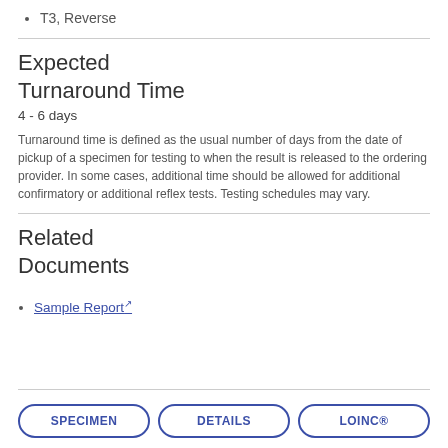T3, Reverse
Expected Turnaround Time
4 - 6 days
Turnaround time is defined as the usual number of days from the date of pickup of a specimen for testing to when the result is released to the ordering provider. In some cases, additional time should be allowed for additional confirmatory or additional reflex tests. Testing schedules may vary.
Related Documents
Sample Report
SPECIMEN | DETAILS | LOINC®